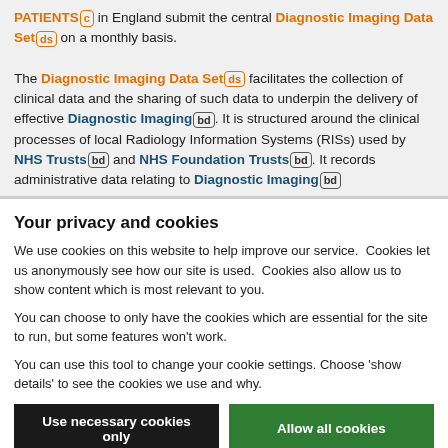PATIENTS [c] in England submit the central Diagnostic Imaging Data Set [ds] on a monthly basis.
The Diagnostic Imaging Data Set [ds] facilitates the collection of clinical data and the sharing of such data to underpin the delivery of effective Diagnostic Imaging [bd]. It is structured around the clinical processes of local Radiology Information Systems (RISs) used by NHS Trusts [bd] and NHS Foundation Trusts [bd]. It records administrative data relating to Diagnostic Imaging [bd]
Your privacy and cookies
We use cookies on this website to help improve our service.  Cookies let us anonymously see how our site is used.  Cookies also allow us to show content which is most relevant to you.
You can choose to only have the cookies which are essential for the site to run, but some features won't work.
You can use this tool to change your cookie settings. Choose 'show details' to see the cookies we use and why.
Use necessary cookies only | Allow all cookies
Show details